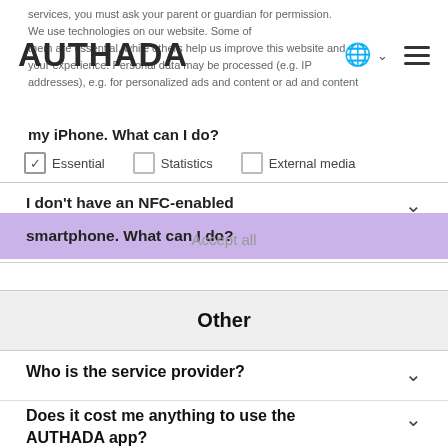services, you must ask your parent or guardian for permission.
We use technologies on our website. Some of them are essential, while others help us improve this website and your experience. Personal data may be processed (e.g. IP addresses), e.g. for personalized ads and content or ad and content
AUTHADA
my iPhone. What can I do?
Essential   Statistics   External media
I don't have an NFC-enabled smartphone. What can I do?
Accept all
Other
Who is the service provider?
Does it cost me anything to use the AUTHADA app?